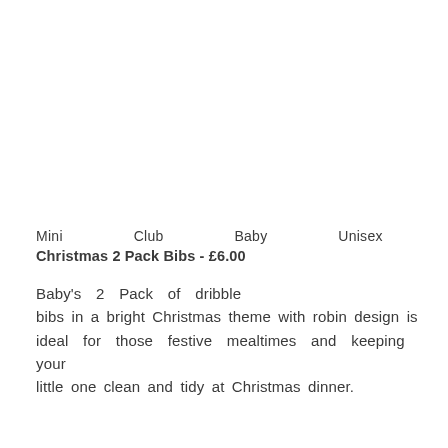[Figure (photo): Partial view of a product image showing a brown curved arc shape (top of a robin/Christmas themed bib) on a white background]
Mini    Club    Baby    Unisex
Christmas 2 Pack Bibs - £6.00
Baby's 2 Pack of dribble bibs in a bright Christmas theme with robin design is ideal for those festive mealtimes and keeping your little one clean and tidy at Christmas dinner.